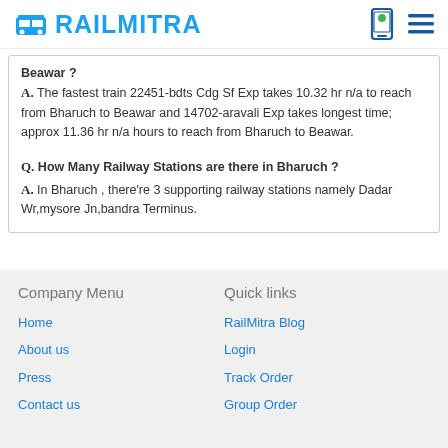RAILMITRA
Beawar ? A. The fastest train 22451-bdts Cdg Sf Exp takes 10.32 hr n/a to reach from Bharuch to Beawar and 14702-aravali Exp takes longest time; approx 11.36 hr n/a hours to reach from Bharuch to Beawar.
Q. How Many Railway Stations are there in Bharuch ? A. In Bharuch , there're 3 supporting railway stations namely Dadar Wr,mysore Jn,bandra Terminus.
Company Menu | Quick links | Home | About us | Press | Contact us | RailMitra Blog | Login | Track Order | Group Order